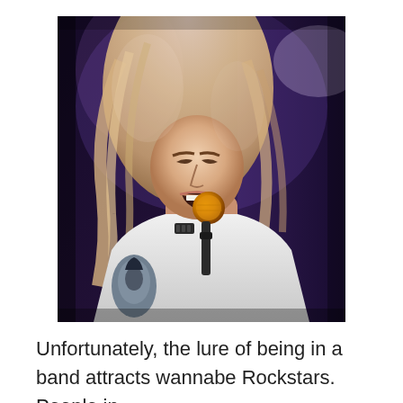[Figure (photo): A rock singer with long blonde/light hair performing on stage, eyes closed, singing intensely into an orange-topped microphone. Wearing a white sleeveless shirt, with a tattoo visible on the left arm. Dark stage background with purplish lighting.]
Unfortunately, the lure of being in a band attracts wannabe Rockstars. People in